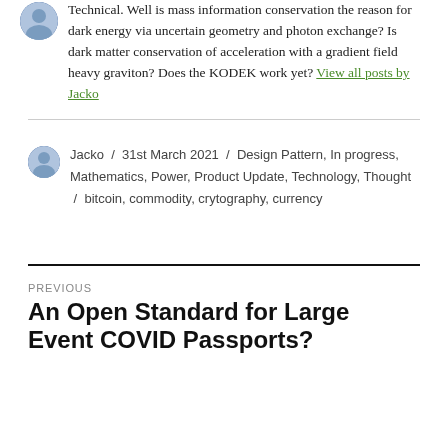Technical. Well is mass information conservation the reason for dark energy via uncertain geometry and photon exchange? Is dark matter conservation of acceleration with a gradient field heavy graviton? Does the KODEK work yet? View all posts by Jacko
Jacko / 31st March 2021 / Design Pattern, In progress, Mathematics, Power, Product Update, Technology, Thought / bitcoin, commodity, crytography, currency
PREVIOUS
An Open Standard for Large Event COVID Passports?